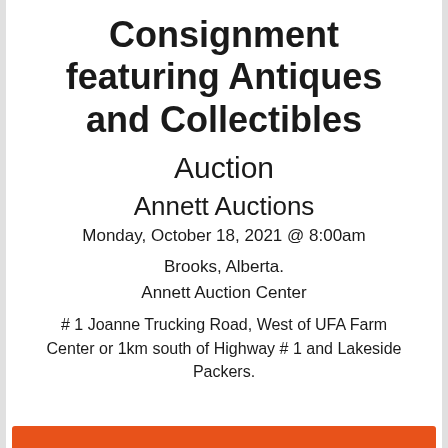Consignment featuring Antiques and Collectibles
Auction
Annett Auctions
Monday, October 18, 2021 @ 8:00am
Brooks, Alberta.
Annett Auction Center
# 1 Joanne Trucking Road, West of UFA Farm Center or 1km south of Highway # 1 and Lakeside Packers.